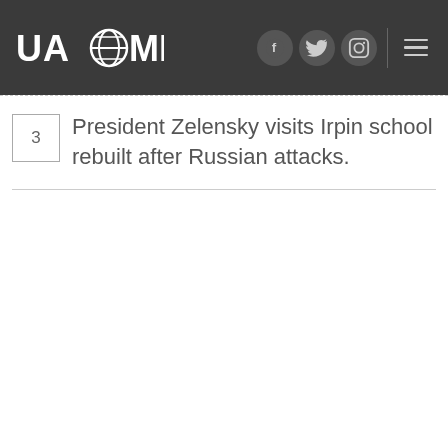UAZMI — navigation header with logo and social icons
3  President Zelensky visits Irpin school rebuilt after Russian attacks.